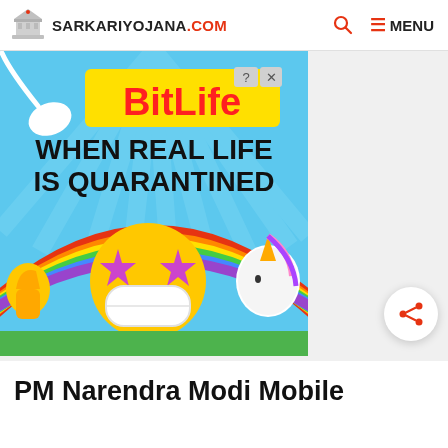SARKARIYOJANA.COM
[Figure (photo): BitLife advertisement banner with text 'WHEN REAL LIFE IS QUARANTINED', showing animated emojis including a star-eyes face with a mask, thumbs up, unicorn, and rainbow on a blue background]
PM Narendra Modi Mobile